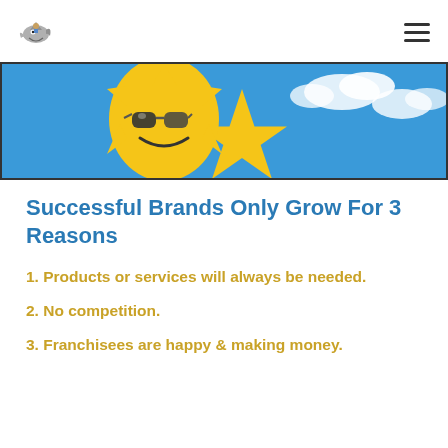[Figure (logo): Cartoon shark/fish logo in grey tones, top left]
[Figure (photo): Banner image showing a yellow star mascot with sunglasses and a smiling face against a blue sky with white clouds]
Successful Brands Only Grow For 3 Reasons
1. Products or services will always be needed.
2. No competition.
3. Franchisees are happy & making money.